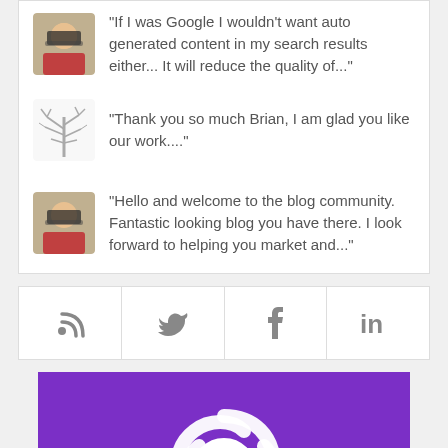“If I was Google I wouldn't want auto generated content in my search results either... It will reduce the quality of...”
“Thank you so much Brian, I am glad you like our work....”
“Hello and welcome to the blog community. Fantastic looking blog you have there. I look forward to helping you market and...”
[Figure (infographic): Social media icon bar with RSS, Twitter, Facebook, and LinkedIn icons in gray on white background]
[Figure (logo): Purple background with white intertwined circular logo mark]